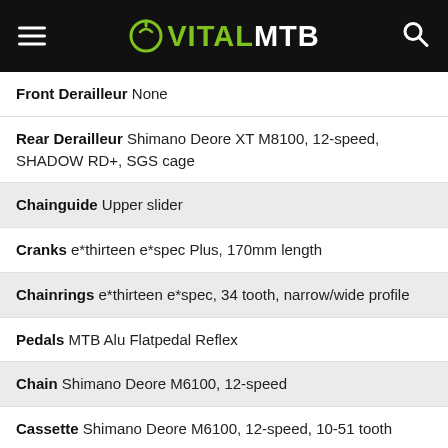VITALMTB
Front Derailleur None
Rear Derailleur Shimano Deore XT M8100, 12-speed, SHADOW RD+, SGS cage
Chainguide Upper slider
Cranks e*thirteen e*spec Plus, 170mm length
Chainrings e*thirteen e*spec, 34 tooth, narrow/wide profile
Pedals MTB Alu Flatpedal Reflex
Chain Shimano Deore M6100, 12-speed
Cassette Shimano Deore M6100, 12-speed, 10-51 tooth
Rims SUNringlé Düroc TR35
Hubs Shimano MT410-B, 15x110mm Boost front, 12x148mm Boost rear with MICRO SPLINE driver
Spokes